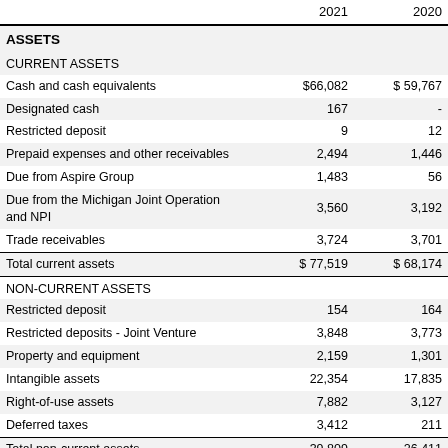|  | 2021 | 2020 |
| --- | --- | --- |
| ASSETS |  |  |
| CURRENT ASSETS |  |  |
| Cash and cash equivalents | $66,082 | $59,767 |
| Designated cash | 167 | - |
| Restricted deposit | 9 | 12 |
| Prepaid expenses and other receivables | 2,494 | 1,446 |
| Due from Aspire Group | 1,483 | 56 |
| Due from the Michigan Joint Operation and NPI | 3,560 | 3,192 |
| Trade receivables | 3,724 | 3,701 |
| Total current assets | $77,519 | $68,174 |
| NON-CURRENT ASSETS |  |  |
| Restricted deposit | 154 | 164 |
| Restricted deposits - Joint Venture | 3,848 | 3,773 |
| Property and equipment | 2,159 | 1,301 |
| Intangible assets | 22,354 | 17,835 |
| Right-of-use assets | 7,882 | 3,127 |
| Deferred taxes | 3,412 | 211 |
| Total non-current assets | 39,809 | 26,411 |
| Total assets | $117,328 | $94,585 |